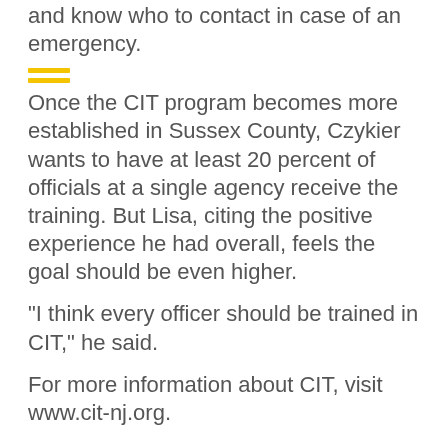and know who to contact in case of an emergency.
Once the CIT program becomes more established in Sussex County, Czykier wants to have at least 20 percent of officials at a single agency receive the training. But Lisa, citing the positive experience he had overall, feels the goal should be even higher.
“I think every officer should be trained in CIT,” he said.
For more information about CIT, visit www.cit-nj.org.
By Kyle Morel New Jersey Herald
Posted: Dec. 17, 2018 12:01 am